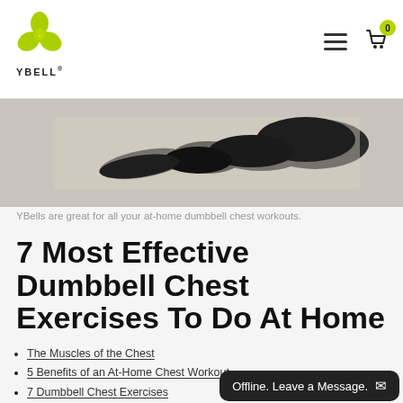YBELL logo, hamburger menu, cart icon with badge 0
[Figure (photo): Person doing a dumbbell chest exercise lying on a rug at home, viewed from above, wearing black clothing]
YBells are great for all your at-home dumbbell chest workouts.
7 Most Effective Dumbbell Chest Exercises To Do At Home
The Muscles of the Chest
5 Benefits of an At-Home Chest Workout
7 Dumbbell Chest Exercises
Buy the Best Free Weights for H…
FAQs About Dumbbell Chest Ex…
Offline. Leave a Message.